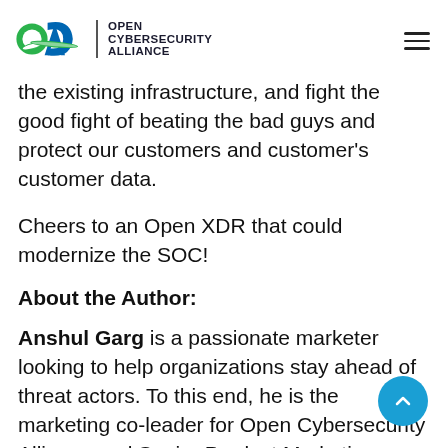Open Cybersecurity Alliance
the existing infrastructure, and fight the good fight of beating the bad guys and protect our customers and customer’s customer data.
Cheers to an Open XDR that could modernize the SOC!
About the Author:
Anshul Garg is a passionate marketer looking to help organizations stay ahead of threat actors. To this end, he is the marketing co-leader for Open Cybersecurity Alliance and Senior Product Marketing Manager, IBM Cloud